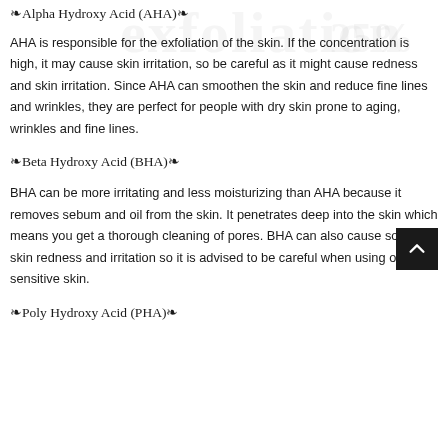❧Alpha Hydroxy Acid (AHA)❧
AHA is responsible for the exfoliation of the skin. If the concentration is high, it may cause skin irritation, so be careful as it might cause redness and skin irritation. Since AHA can smoothen the skin and reduce fine lines and wrinkles, they are perfect for people with dry skin prone to aging, wrinkles and fine lines.
❧Beta Hydroxy Acid (BHA)❧
BHA can be more irritating and less moisturizing than AHA because it removes sebum and oil from the skin. It penetrates deep into the skin which means you get a thorough cleaning of pores. BHA can also cause some skin redness and irritation so it is advised to be careful when using on sensitive skin.
❧Poly Hydroxy Acid (PHA)❧